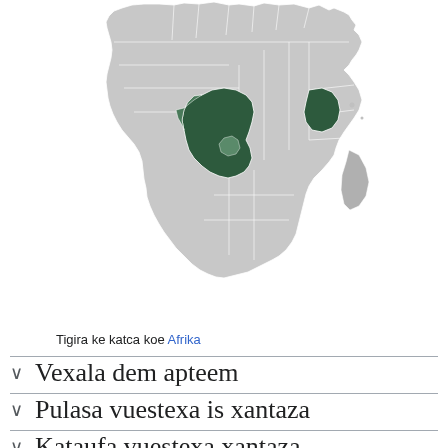[Figure (map): Map of Africa with highlighted regions in dark green showing language distribution areas in central-east Africa (DRC, Tanzania, Kenya area)]
Tigira ke katca koe Afrika
Vexala dem apteem
Pulasa vuestexa is xantaza
Kataufa vuestexa xantaza